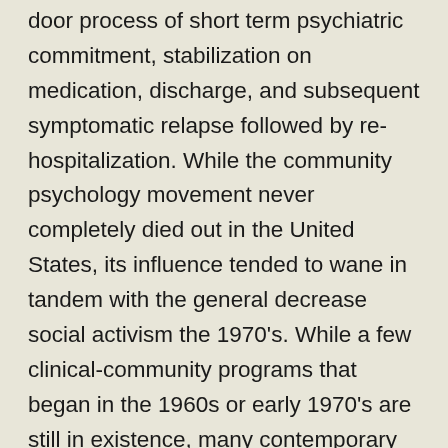door process of short term psychiatric commitment, stabilization on medication, discharge, and subsequent symptomatic relapse followed by re-hospitalization. While the community psychology movement never completely died out in the United States, its influence tended to wane in tandem with the general decrease social activism the 1970's. While a few clinical-community programs that began in the 1960s or early 1970's are still in existence, many contemporary community psychology programs are associated with social psychology programs, and the major emphasis is on community oriented research rather than community organization and social activism.